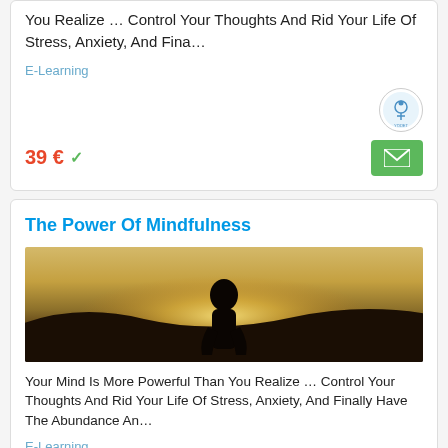You Realize … Control Your Thoughts And Rid Your Life Of Stress, Anxiety, And Fina…
E-Learning
39 €
The Power Of Mindfulness
[Figure (photo): Silhouette of a person meditating against a golden sunset sky]
Your Mind Is More Powerful Than You Realize … Control Your Thoughts And Rid Your Life Of Stress, Anxiety, And Finally Have The Abundance An…
E-Learning
39 €